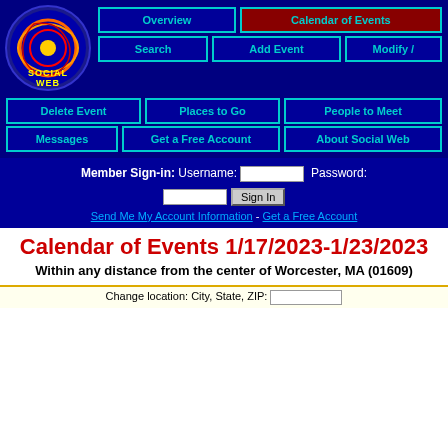[Figure (logo): Social Web logo with circular colorful graphic and yellow 'SOCIAL WEB' text on dark blue background]
Overview | Calendar of Events | Search | Add Event | Modify / | Delete Event | Places to Go | People to Meet | Messages | Get a Free Account | About Social Web
Member Sign-in: Username: [input] Password: [input] Sign In
Send Me My Account Information - Get a Free Account
Calendar of Events 1/17/2023-1/23/2023
Within any distance from the center of Worcester, MA (01609)
Change location: City, State, ZIP: [input]